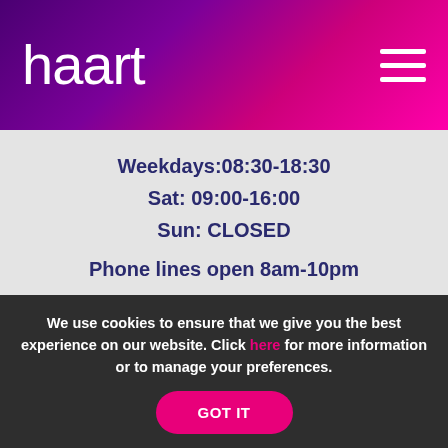[Figure (logo): haart logo in white text on purple-to-pink gradient header bar with hamburger menu icon]
Weekdays:08:30-18:30
Sat: 09:00-16:00
Sun: CLOSED
Phone lines open 8am-10pm
MEMBERSHIP AND FEES
We use cookies to ensure that we give you the best experience on our website. Click here for more information or to manage your preferences.
GOT IT